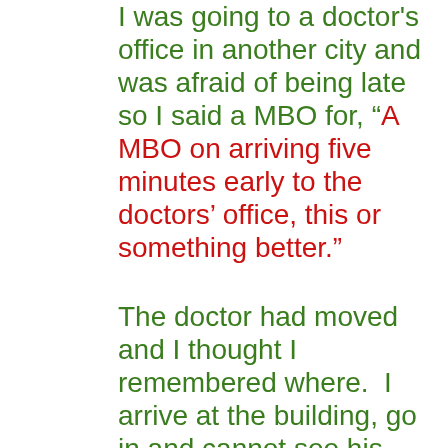I was going to a doctor's office in another city and was afraid of being late so I said a MBO for, “A MBO on arriving five minutes early to the doctors’ office, this or something better.”
The doctor had moved and I thought I remembered where.  I arrive at the building, go in and cannot see his name listed anywhere; I was in the wrong building and street!  I found his business